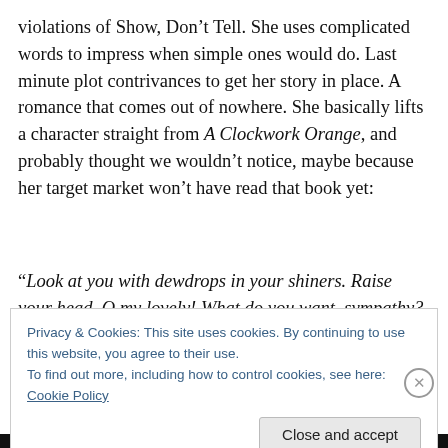violations of Show, Don't Tell. She uses complicated words to impress when simple ones would do. Last minute plot contrivances to get her story in place. A romance that comes out of nowhere. She basically lifts a character straight from A Clockwork Orange, and probably thought we wouldn't notice, maybe because her target market won't have read that book yet:
“Look at you with dewdrops in your shiners. Raise your head, O my lovely! What do you want–sympathy? Pity? You won’t find that from him, just like you didn’t find it from
Privacy & Cookies: This site uses cookies. By continuing to use this website, you agree to their use.
To find out more, including how to control cookies, see here: Cookie Policy